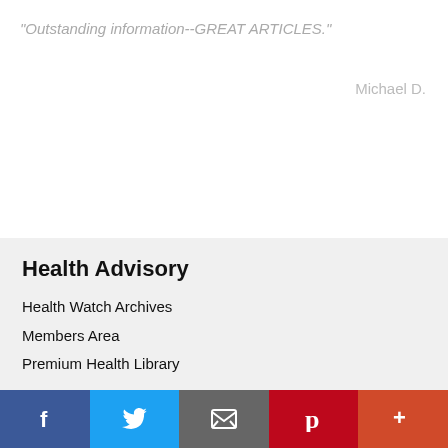"Outstanding information--GREAT ARTICLES."
Michael D.
Health Advisory
Health Watch Archives
Members Area
Premium Health Library
[Figure (infographic): Social media icons: Facebook (blue), Twitter (blue), YouTube (red), Pinterest (red)]
Login
[Figure (infographic): reCAPTCHA logo partial view]
Bottom navigation bar with Facebook, Twitter, Email, Pinterest, and More icons